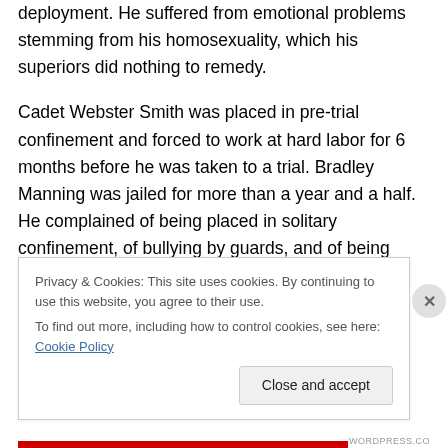deployment. He suffered from emotional problems stemming from his homosexuality, which his superiors did nothing to remedy.

Cadet Webster Smith was placed in pre-trial confinement and forced to work at hard labor for 6 months before he was taken to a trial. Bradley Manning was jailed for more than a year and a half. He complained of being placed in solitary confinement, of bullying by guards, and of being subjected to an ultra restrictive regime at the US military prison at the Marine Corps Base Quantico, Virginia just outside of Washington.DC.
Privacy & Cookies: This site uses cookies. By continuing to use this website, you agree to their use.
To find out more, including how to control cookies, see here: Cookie Policy
Close and accept